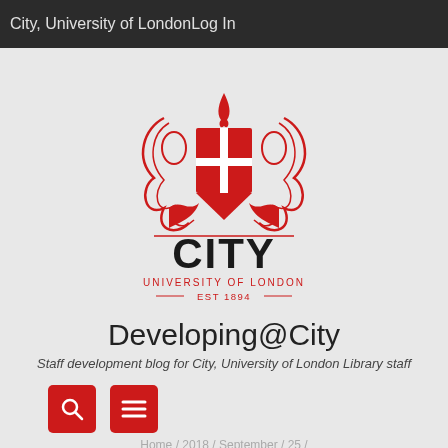City, University of LondonLog In
[Figure (logo): City, University of London crest logo with red shield and 'CITY UNIVERSITY OF LONDON EST 1894' text]
Developing@City
Staff development blog for City, University of London Library staff
[Figure (other): Search icon button (red square with magnifying glass) and menu icon button (red square with three horizontal lines)]
Home / 2018 / September / 25 /